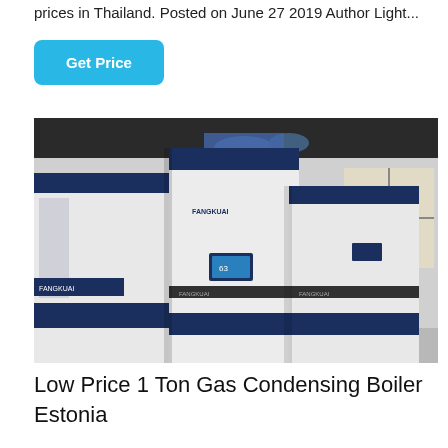prices in Thailand. Posted on June 27 2019 Author Light...
Get Price
[Figure (photo): Two large FANGKUAI brand industrial gas condensing boilers in white and navy blue, installed in an industrial room with piping visible above.]
Low Price 1 Ton Gas Condensing Boiler Estonia